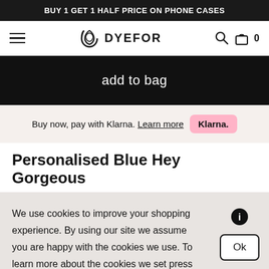BUY 1 GET 1 HALF PRICE ON PHONE CASES
[Figure (logo): Dyefor logo with stylized D icon and wordmark DYEFOR, plus hamburger menu, search icon, and bag icon with 0]
[Figure (other): Black add to bag button]
Buy now, pay with Klarna. Learn more
Personalised Blue Hey Gorgeous
We use cookies to improve your shopping experience. By using our site we assume you are happy with the cookies we use. To learn more about the cookies we set press the i icon.